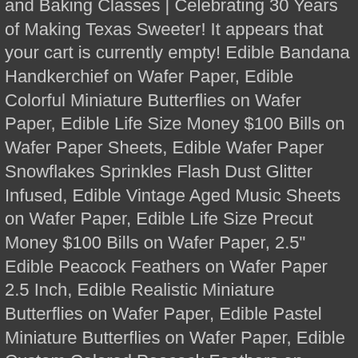and Baking Classes | Celebrating 30 Years of Making Texas Sweeter! It appears that your cart is currently empty! Edible Bandana Handkerchief on Wafer Paper, Edible Colorful Miniature Butterflies on Wafer Paper, Edible Life Size Money $100 Bills on Wafer Paper Sheets, Edible Wafer Paper Snowflakes Sprinkles Flash Dust Glitter Infused, Edible Vintage Aged Music Sheets on Wafer Paper, Edible Life Size Precut Money $100 Bills on Wafer Paper, 2.5" Edible Peacock Feathers on Wafer Paper 2.5 Inch, Edible Realistic Miniature Butterflies on Wafer Paper, Edible Pastel Miniature Butterflies on Wafer Paper, Edible Custom Colored Peacock Feathers on Wafer Paper 2 Inch, Edible Cream & Lavender Floral Designs on Wafer Paper, Edible Wafer Paper Passport Cake & Cupcake Topper, Custom Leaves for Flower Making on Edible Wafer Paper. This is great to use for cake pops, chocolate covered Oreos, marshmallow pops, chocolate molding and so, so much more! $31.99 $ 31. Guittard Chocolate is one of the oldest fine chocolate manufacturers in the United States. / 10 lb. Aug 5, 2020 - Get delicious high quality white chocolate with Guittard White